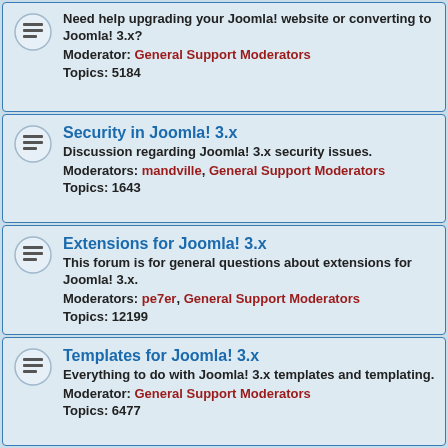Need help upgrading your Joomla! website or converting to Joomla! 3.x? Moderator: General Support Moderators Topics: 5184
Security in Joomla! 3.x Discussion regarding Joomla! 3.x security issues. Moderators: mandville, General Support Moderators Topics: 1643
Extensions for Joomla! 3.x This forum is for general questions about extensions for Joomla! 3.x. Moderators: pe7er, General Support Moderators Topics: 12199
Templates for Joomla! 3.x Everything to do with Joomla! 3.x templates and templating. Moderator: General Support Moderators Topics: 6477